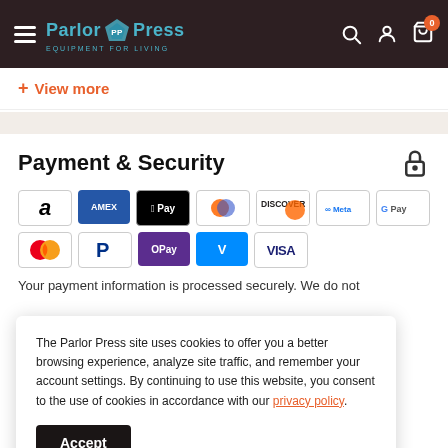Parlor Press — Equipment for Living
+ View more
Payment & Security
[Figure (other): Payment method icons: Amazon, Amex, Apple Pay, Diners Club, Discover, Meta Pay, Google Pay, Mastercard, PayPal, OPay, Venmo, Visa]
Your payment information is processed securely. We do not
The Parlor Press site uses cookies to offer you a better browsing experience, analyze site traffic, and remember your account settings. By continuing to use this website, you consent to the use of cookies in accordance with our privacy policy.
Accept
Estimate shipping